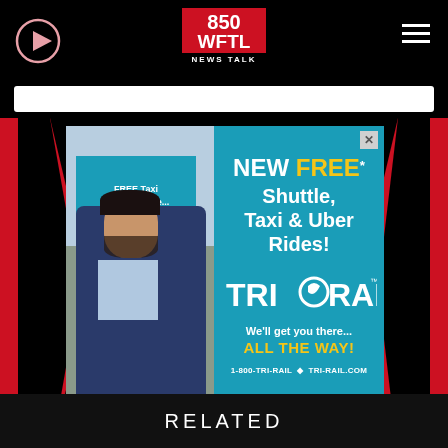850 WFTL NEWS TALK
[Figure (screenshot): 850 WFTL News Talk radio station website screenshot showing header with play button, logo, hamburger menu, search bar, a Tri-Rail advertisement featuring a man in a blue suit getting into a car and an ad for FREE Shuttle, Taxi & Uber Rides, and a RELATED section footer.]
FREE Taxi to get you the...
NEW FREE* Shuttle, Taxi & Uber Rides! TRI-RAIL We'll get you there... ALL THE WAY! 1-800-TRI-RAIL · TRI-RAIL.COM * Free rides available from select train stations.
RELATED